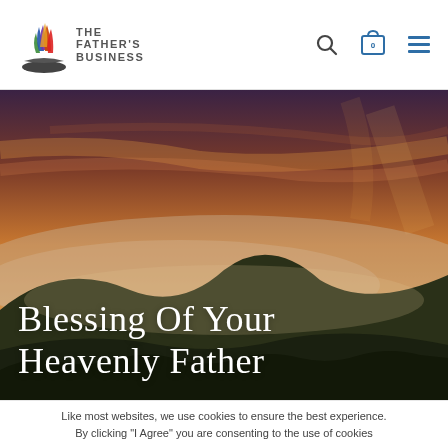[Figure (logo): The Father's Business logo with colorful flame/book icon and text]
[Figure (photo): Misty mountain valley landscape at sunset with orange and purple sky, hero banner image]
Blessing Of Your Heavenly Father
Like most websites, we use cookies to ensure the best experience. By clicking "I Agree" you are consenting to the use of cookies